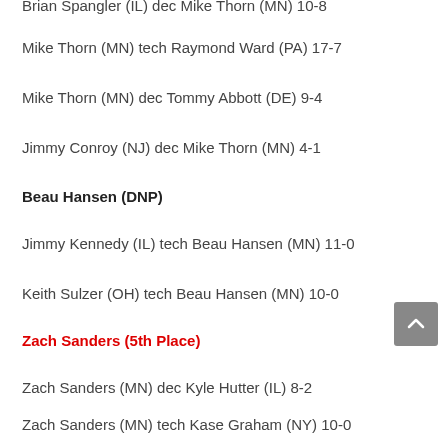Brian Spangler (IL) dec Mike Thorn (MN) 10-8
Mike Thorn (MN) tech Raymond Ward (PA) 17-7
Mike Thorn (MN) dec Tommy Abbott (DE) 9-4
Jimmy Conroy (NJ) dec Mike Thorn (MN) 4-1
Beau Hansen (DNP)
Jimmy Kennedy (IL) tech Beau Hansen (MN) 11-0
Keith Sulzer (OH) tech Beau Hansen (MN) 10-0
Zach Sanders (5th Place)
Zach Sanders (MN) dec Kyle Hutter (IL) 8-2
Zach Sanders (MN) tech Kase Graham (NY) 10-0
Zach Sanders (MN) tech Alan Stuber (WY) 11-0